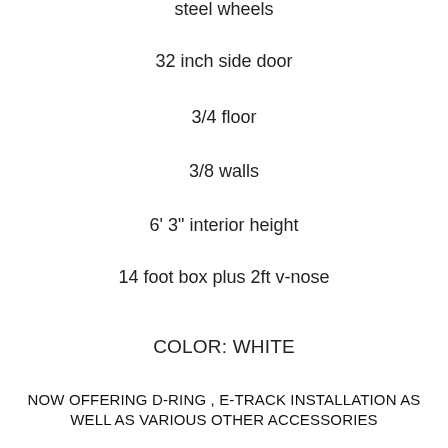steel wheels
32 inch side door
3/4 floor
3/8 walls
6' 3" interior height
14 foot box plus 2ft v-nose
COLOR: WHITE
NOW OFFERING D-RING , E-TRACK INSTALLATION AS WELL AS VARIOUS OTHER ACCESSORIES